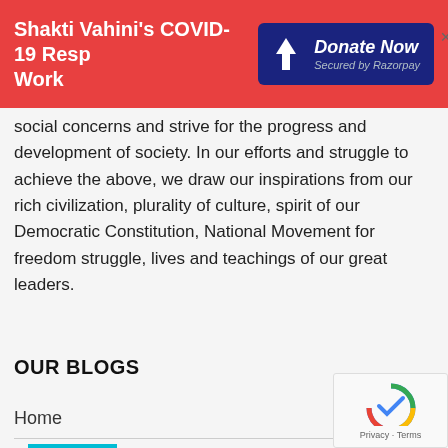Shakti Vahini's COVID-19 Resp Work
[Figure (other): Donate Now button secured by Razorpay with blue background and payment icon]
social concerns and strive for the progress and development of society. In our efforts and struggle to achieve the above, we draw our inspirations from our rich civilization, plurality of culture, spirit of our Democratic Constitution, National Movement for freedom struggle, lives and teachings of our great leaders.
READ MORE ABOUT US
OUR BLOGS
Home
About Us
Contact Us
Annual Reports